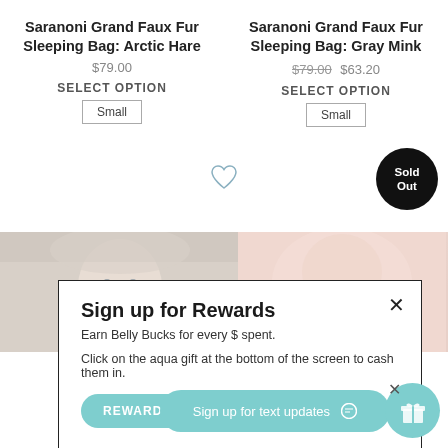Saranoni Grand Faux Fur Sleeping Bag: Arctic Hare
$79.00
SELECT OPTION
Small
Saranoni Grand Faux Fur Sleeping Bag: Gray Mink
$79.00 $63.20
SELECT OPTION
Small
[Figure (illustration): Heart/wishlist icon outline]
[Figure (illustration): Black circle badge with 'Sold Out' text]
[Figure (photo): Two product/lifestyle photos of baby products side by side]
Sign up for Rewards
Earn Belly Bucks for every $ spent.
Click on the aqua gift at the bottom of the screen to cash them in.
REWARDS
Sign up for text updates
[Figure (illustration): Teal gift box icon badge bottom right]